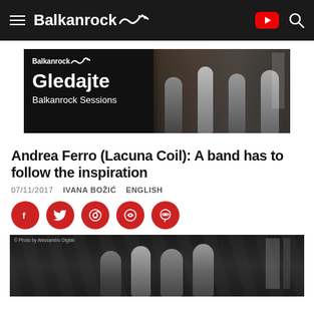Balkanrock
[Figure (illustration): Balkanrock Sessions advertisement banner showing band members with text 'Gledajte Balkanrock Sessions']
Andrea Ferro (Lacuna Coil): A band has to follow the inspiration
07/11/2017   IVANA BOŽIĆ   ENGLISH
[Figure (illustration): Five red circular social media share buttons: Facebook, Twitter, Reddit, WhatsApp, WhatsApp]
[Figure (photo): Black and white photo of a band (Lacuna Coil) in an industrial setting. Photo credit: © Photo by Alessandro Digital]